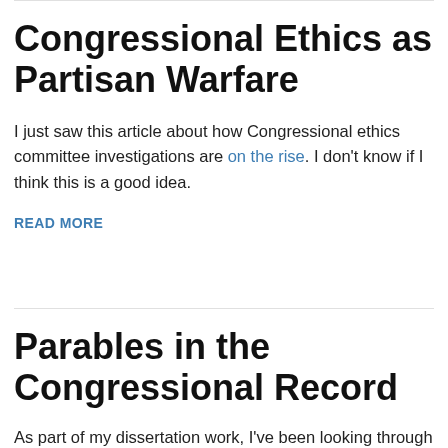Congressional Ethics as Partisan Warfare
I just saw this article about how Congressional ethics committee investigations are on the rise. I don't know if I think this is a good idea.
READ MORE
Parables in the Congressional Record
As part of my dissertation work, I've been looking through old committee reports about legislation